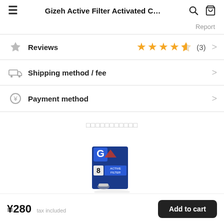Gizeh Active Filter Activated C…
Report
Reviews  ★★★★★ (3)
Shipping method / fee
Payment method
□□□□□□□□□□□
[Figure (photo): Product image: Gizeh Active Filter box in blue packaging]
¥280  tax included
Add to cart